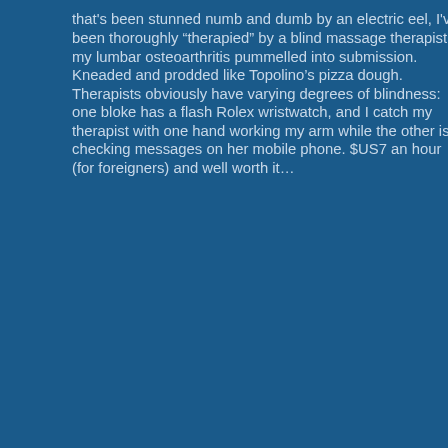that's been stunned numb and dumb by an electric eel, I've been thoroughly “therapied” by a blind massage therapist; my lumbar osteoarthritis pummelled into submission. Kneaded and prodded like Topolino’s pizza dough. Therapists obviously have varying degrees of blindness: one bloke has a flash Rolex wristwatch, and I catch my therapist with one hand working my arm while the other is checking messages on her mobile phone. $US7 an hour (for foreigners) and well worth it…
[Figure (other): Broken image placeholder bar with small icon on left side]